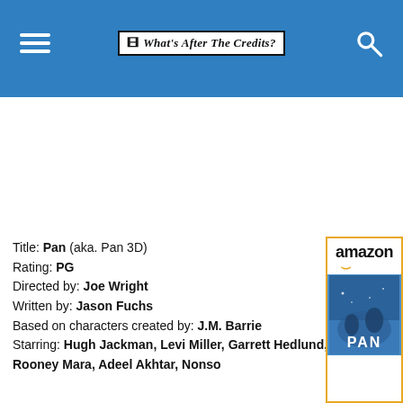What's After The Credits? — website header with hamburger menu, logo, and search icon
Title: Pan (aka. Pan 3D)
Rating: PG
Directed by: Joe Wright
Written by: Jason Fuchs
Based on characters created by: J.M. Barrie
Starring: Hugh Jackman, Levi Miller, Garrett Hedlund, Rooney Mara, Adeel Akhtar, Nonso
[Figure (illustration): Amazon product listing box with Amazon logo and Pan movie Blu-ray cover art]